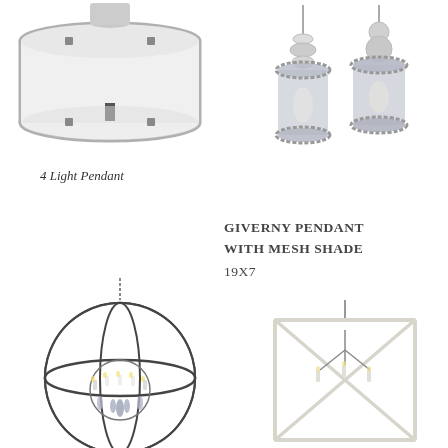[Figure (photo): Flush-mount or semi-flush pendant light fixture with a white drum shade and silver/chrome frame, viewed from below at an angle. Top portion only visible.]
[Figure (photo): Two ornate crystal/glass pendant lights with jeweled trim, shown side by side on a white background. Cylindrical mesh shades with crystal embellishments.]
4 Light Pendant
GIVERNY PENDANT WITH MESH SHADE 19X7
[Figure (photo): Large globe-shaped chandelier with dark metal orbital rings and crystal/candle accents inside, hanging from a chain.]
[Figure (photo): Square box-frame pendant light in white/cream finish with X-pattern cross bracing on sides and candle bulbs inside.]